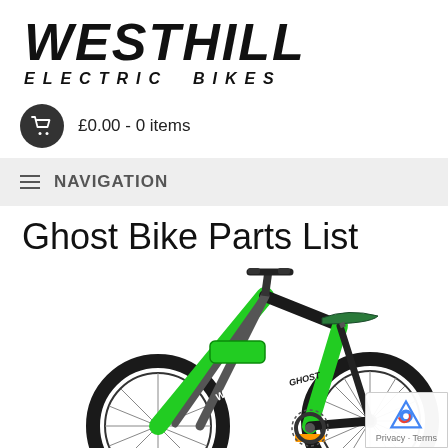[Figure (logo): Westhill Electric Bikes logo — bold italic WESTHILL in large black text, ELECTRIC BIKES below in spaced italic capitals]
£0.00 - 0 items
NAVIGATION
Ghost Bike Parts List
[Figure (photo): Green and black Ghost brand mountain bike / electric bike, partial view showing handlebars, frame, saddle, and rear wheel on white background]